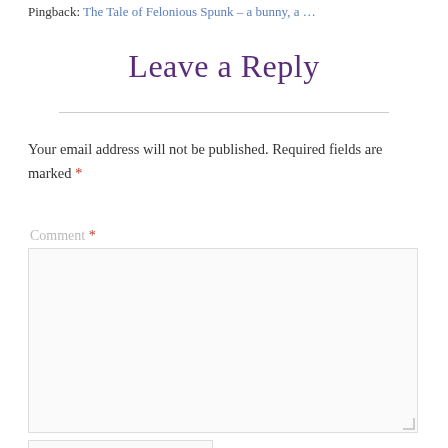Pingback: The Tale of Felonious Spunk – a bunny, a …
Leave a Reply
Your email address will not be published. Required fields are marked *
Comment *